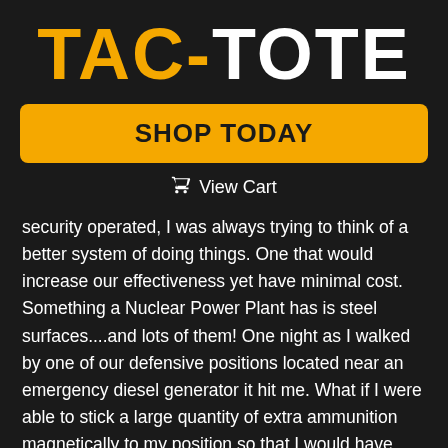[Figure (logo): TAC-TOTE logo with TAC in orange and TOTE in white, bold uppercase large font on dark background]
SHOP TODAY
View Cart
security operated, I was always trying to think of a better system of doing things. One that would increase our effectiveness yet have minimal cost.  Something a Nuclear Power Plant has is steel surfaces....and lots of them! One night as I walked by one of our defensive positions located near an emergency diesel generator it hit me. What if I were able to stick a large quantity of extra ammunition magnetically to my position so that I would have plenty if the unimaginable happened. From there I began to brainstorm product designs, concepts